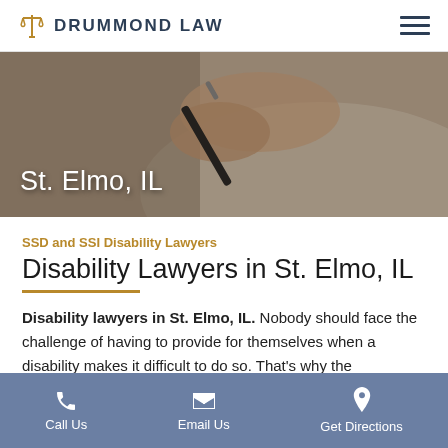DRUMMOND LAW
[Figure (photo): Hero image showing a hand holding a pen over a document, representing legal work. Overlaid text reads 'St. Elmo, IL']
St. Elmo, IL
SSD and SSI Disability Lawyers
Disability Lawyers in St. Elmo, IL
Disability lawyers in St. Elmo, IL. Nobody should face the challenge of having to provide for themselves when a disability makes it difficult to do so. That's why the
Call Us  Email Us  Get Directions